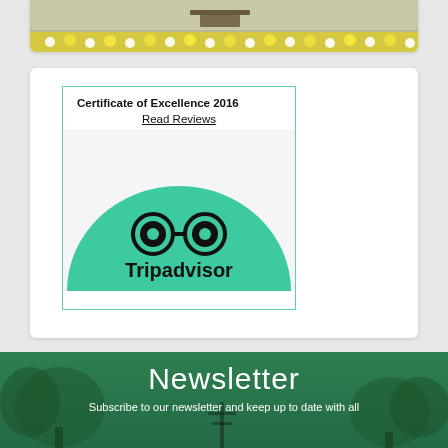[Figure (photo): Top of page showing partial photo of park scene with flowers and benches, cropped at top]
[Figure (logo): TripAdvisor Certificate of Excellence 2016 widget with owl logo on green semicircle background, bordered in teal, with 'Certificate of Excellence 2016' text and 'Read Reviews' underlined link]
Newsletter
Subscribe to our newsletter and keep up to date with all